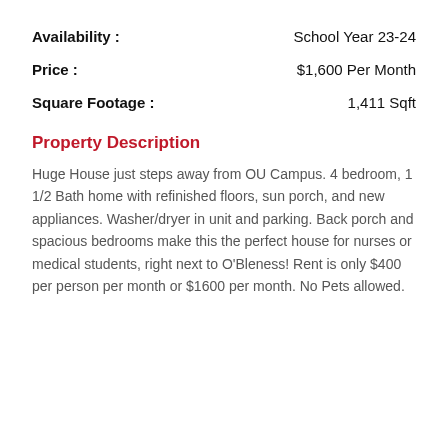Availability : School Year 23-24
Price : $1,600 Per Month
Square Footage : 1,411 Sqft
Property Description
Huge House just steps away from OU Campus. 4 bedroom, 1 1/2 Bath home with refinished floors, sun porch, and new appliances. Washer/dryer in unit and parking. Back porch and spacious bedrooms make this the perfect house for nurses or medical students, right next to O'Bleness! Rent is only $400 per person per month or $1600 per month. No Pets allowed.